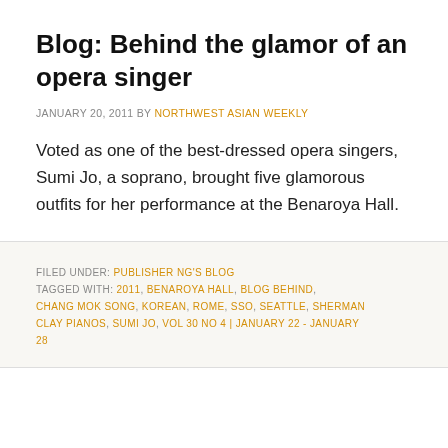Blog: Behind the glamor of an opera singer
JANUARY 20, 2011 BY NORTHWEST ASIAN WEEKLY
Voted as one of the best-dressed opera singers, Sumi Jo, a soprano, brought five glamorous outfits for her performance at the Benaroya Hall.
FILED UNDER: PUBLISHER NG'S BLOG
TAGGED WITH: 2011, BENAROYA HALL, BLOG BEHIND, CHANG MOK SONG, KOREAN, ROME, SSO, SEATTLE, SHERMAN CLAY PIANOS, SUMI JO, VOL 30 NO 4 | JANUARY 22 - JANUARY 28